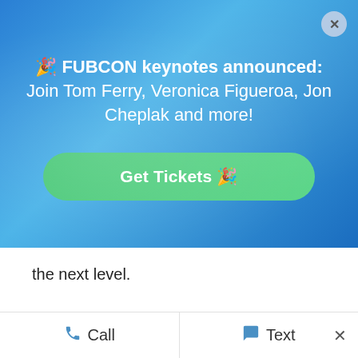[Figure (screenshot): Blue gradient banner with announcement text and green Get Tickets button, close X button in top right corner]
the next level.
“They make problems go away before their clients get wind of them. They’re anticipating problems and have solutions ready,” says Hank
Call  Text